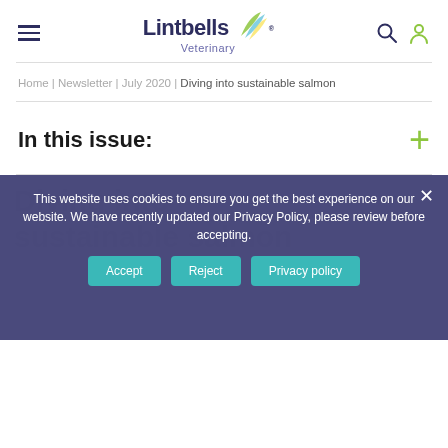[Figure (logo): Lintbells Veterinary logo with leaf/feather graphic in green, blue, and yellow]
Home | Newsletter | July 2020 | Diving into sustainable salmon
In this issue:
Diving into sustainable salmon
This website uses cookies to ensure you get the best experience on our website. We have recently updated our Privacy Policy, please review before accepting.